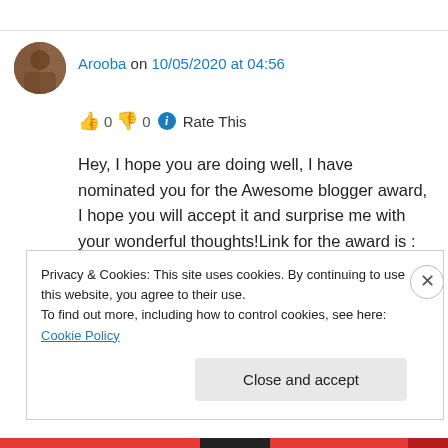Arooba on 10/05/2020 at 04:56
👍 0 👎 0 ℹ Rate This
Hey, I hope you are doing well, I have nominated you for the Awesome blogger award, I hope you will accept it and surprise me with your wonderful thoughts!Link for the award is : https://aroobaazam.wordpress.com/2020/05/09/sunshine-award/
Privacy & Cookies: This site uses cookies. By continuing to use this website, you agree to their use.
To find out more, including how to control cookies, see here: Cookie Policy
Close and accept